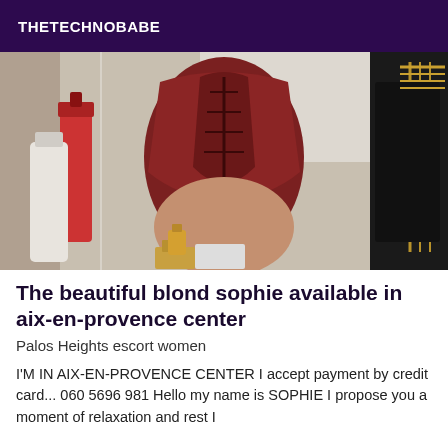THETECHNOBABE
[Figure (photo): Photo of a person in a dark red/burgundy corset lingerie from behind, in a room with various items visible including a bottle and a handbag]
The beautiful blond sophie available in aix-en-provence center
Palos Heights escort women
I'M IN AIX-EN-PROVENCE CENTER I accept payment by credit card... 060 5696 981 Hello my name is SOPHIE I propose you a moment of relaxation and rest I